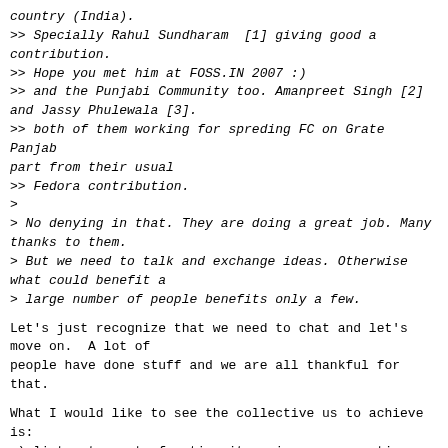country (India).
>> Specially Rahul Sundharam  [1] giving good a contribution.
>> Hope you met him at FOSS.IN 2007 :)
>> and the Punjabi Community too. Amanpreet Singh [2] and Jassy Phulewala [3].
>> both of them working for spreding FC on Grate Panjab part from their usual
>> Fedora contribution.
>
> No denying in that. They are doing a great job. Many thanks to them.
> But we need to talk and exchange ideas. Otherwise what could benefit a
> large number of people benefits only a few.
Let's just recognize that we need to chat and let's move on.  A lot of
people have done stuff and we are all thankful for that.
What I would like to see the collective us to achieve is:
a) list out a set of action items in our respective geographies that
promote Fedora and Open Source in general
b) Take ownership and responsibilities of whatever we sign up for.
Shall we just move on and plan for the next chat?